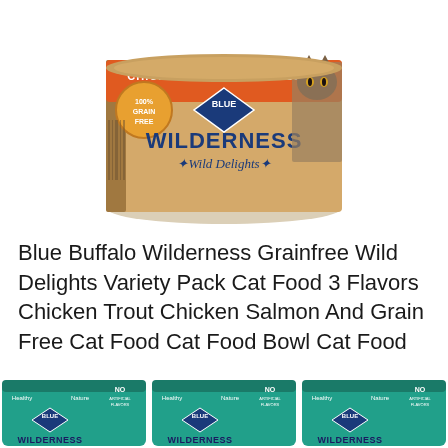[Figure (photo): Blue Buffalo Wilderness Wild Delights cat food can, salmon/beige colored tin with orange top band reading 'CHICKEN & TURKEY in Tasty...' and blue diamond logo, '100% GRAIN FREE' badge, cat image on right, 'BLUE WILDERNESS WILD DELIGHTS' branding]
Blue Buffalo Wilderness Grainfree Wild Delights Variety Pack Cat Food 3 Flavors Chicken Trout Chicken Salmon And Grain Free Cat Food Cat Food Bowl Cat Food
[Figure (photo): Three Blue Buffalo Wilderness teal/green cat treat pouches side by side, each with blue diamond WILDERNESS logo, showing from left to right three identical looking packages]